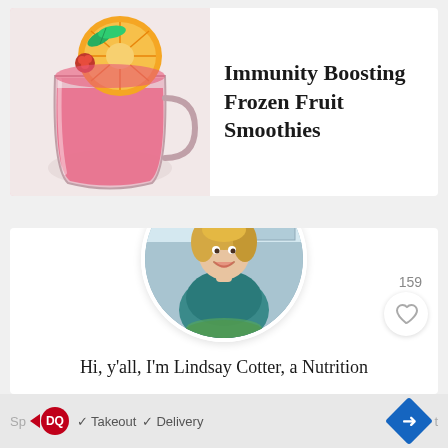[Figure (photo): A pink/red berry smoothie in a glass mason jar mug topped with an orange slice and mint leaves, on a light background]
Immunity Boosting Frozen Fruit Smoothies
[Figure (photo): Circular portrait photo of a smiling blonde woman in a teal top holding a salad bowl, in a kitchen setting]
159
Hi, y'all, I'm Lindsay Cotter, a Nutrition
Sp... ✓ Takeout ✓ Delivery